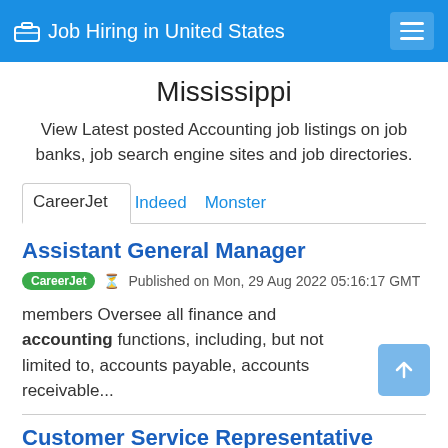Job Hiring in United States
Mississippi
View Latest posted Accounting job listings on job banks, job search engine sites and job directories.
CareerJet  Indeed  Monster
Assistant General Manager
CareerJet  Published on Mon, 29 Aug 2022 05:16:17 GMT
members Oversee all finance and accounting functions, including, but not limited to, accounts payable, accounts receivable...
Customer Service Representative